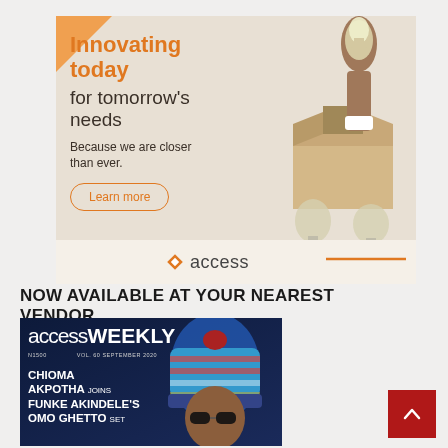[Figure (illustration): Access Bank advertisement banner. Shows a hand holding a lightbulb emerging from a cardboard box with text: 'Innovating today for tomorrow's needs. Because we are closer than ever.' with a 'Learn more' button and the Access Bank logo at the bottom.]
NOW AVAILABLE AT YOUR NEAREST VENDOR....
[Figure (photo): Cover of AccessWeekly magazine. Dark navy background with large magazine logo 'accessWEEKLY'. Shows N1500, VOL. 60 SEPTEMBER 2020. Headline: 'CHIOMA AKPOTHA JOINS FUNKE AKINDELE'S OMO GHETTO SET' with a photo of a person wearing a colorful knit hat/cap.]